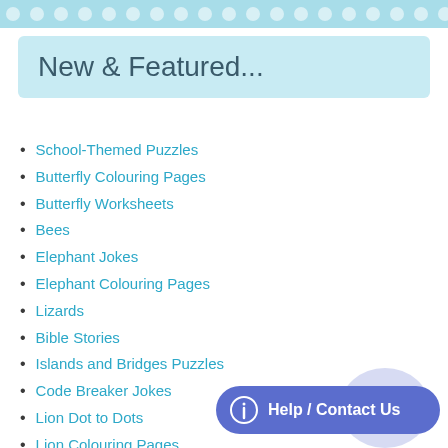[Figure (illustration): Light blue decorative header banner with white polka dots pattern]
New & Featured...
School-Themed Puzzles
Butterfly Colouring Pages
Butterfly Worksheets
Bees
Elephant Jokes
Elephant Colouring Pages
Lizards
Bible Stories
Islands and Bridges Puzzles
Code Breaker Jokes
Lion Dot to Dots
Lion Colouring Pages
KS2 Elephant Worksheets
Summer Colouring Pages
Summer Printables
All About Me